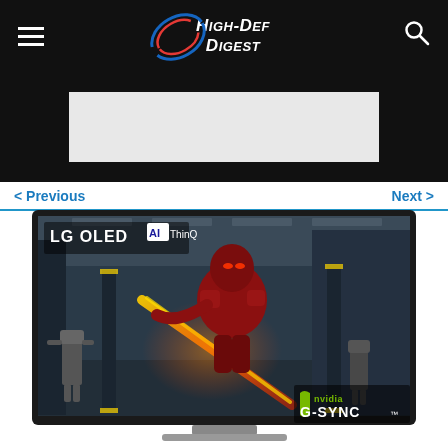High-Def Digest
[Figure (other): Advertisement placeholder box (light gray rectangle)]
< Previous
Next >
[Figure (photo): LG OLED AI ThinQ television displaying a sci-fi game scene with a warrior in red armor wielding a glowing orange sword, with robots and futuristic corridor in background. NVIDIA G-SYNC logo visible in lower right corner of screen.]